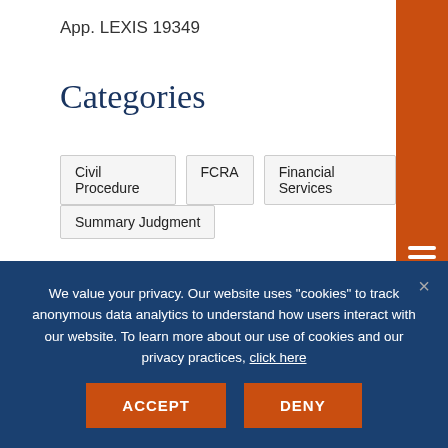App. LEXIS 19349
Categories
Civil Procedure
FCRA
Financial Services
Summary Judgment
News, Publications, & Events
Consumer Finance
We value your privacy. Our website uses "cookies" to track anonymous data analytics to understand how users interact with our website. To learn more about our use of cookies and our privacy practices, click here
ACCEPT
DENY